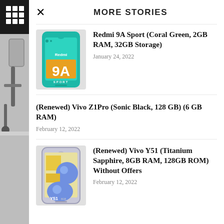MORE STORIES
Redmi 9A Sport (Coral Green, 2GB RAM, 32GB Storage)
January 24, 2022
(Renewed) Vivo Z1Pro (Sonic Black, 128 GB) (6 GB RAM)
February 12, 2022
(Renewed) Vivo Y51 (Titanium Sapphire, 8GB RAM, 128GB ROM) Without Offers
February 12, 2022